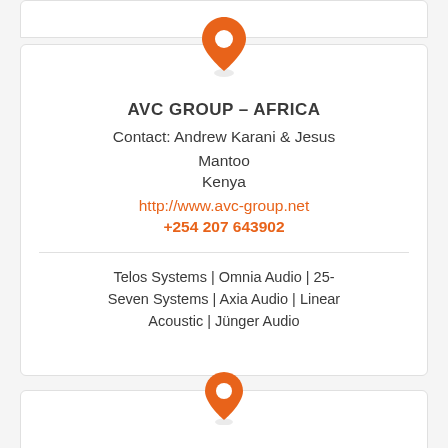[Figure (other): Orange map location pin icon at top of card]
AVC GROUP – AFRICA
Contact: Andrew Karani & Jesus Mantoo
Kenya
http://www.avc-group.net
+254 207 643902
Telos Systems | Omnia Audio | 25-Seven Systems | Axia Audio | Linear Acoustic | Jünger Audio
[Figure (other): Orange map location pin icon at bottom of page]